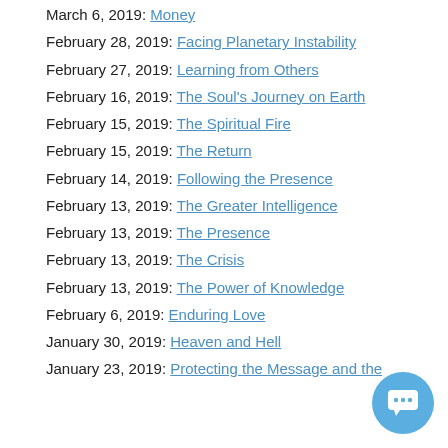March 6, 2019: Money
February 28, 2019: Facing Planetary Instability
February 27, 2019: Learning from Others
February 16, 2019: The Soul's Journey on Earth
February 15, 2019: The Spiritual Fire
February 15, 2019: The Return
February 14, 2019: Following the Presence
February 13, 2019: The Greater Intelligence
February 13, 2019: The Presence
February 13, 2019: The Crisis
February 13, 2019: The Power of Knowledge
February 6, 2019: Enduring Love
January 30, 2019: Heaven and Hell
January 23, 2019: Protecting the Message and the